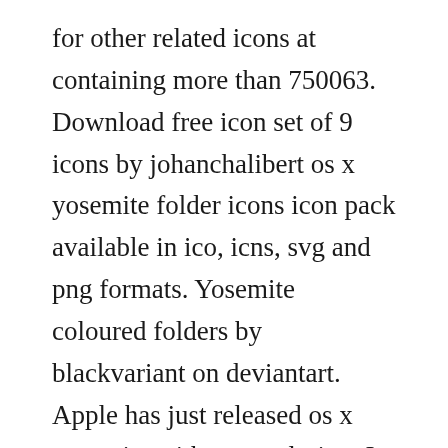for other related icons at containing more than 750063. Download free icon set of 9 icons by johanchalibert os x yosemite folder icons icon pack available in ico, icns, svg and png formats. Yosemite coloured folders by blackvariant on deviantart. Apple has just released os x yosemite with a new design. In mavericks, resetting launchservices would update the icon, but in yosemite, from the time i.
Downloads folder icon missing solved windows 10 forums. Iii free view all 7 icons